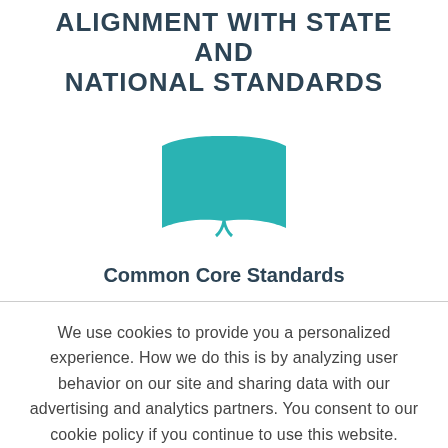ALIGNMENT WITH STATE AND NATIONAL STANDARDS
[Figure (illustration): Open book icon in teal color]
Common Core Standards
We use cookies to provide you a personalized experience. How we do this is by analyzing user behavior on our site and sharing data with our advertising and analytics partners. You consent to our cookie policy if you continue to use this website.
I UNDERSTAND